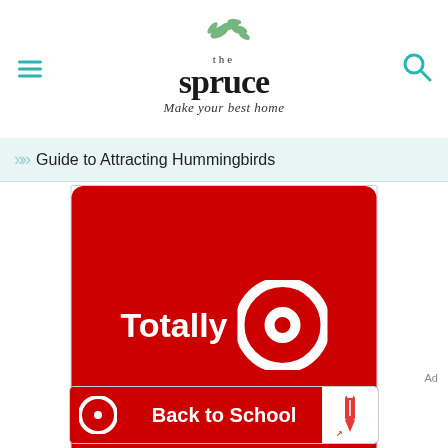[Figure (logo): The Spruce website header logo with hamburger menu and search icon. Logo reads 'the spruce' with tagline 'Make your best home' in italic script. Teal/green leaf decoration.]
Guide to Attracting Hummingbirds
[Figure (photo): Target advertisement on red background showing 'Totally' text with Target bullseye logo]
Ad
[Figure (photo): Target 'Back to School' banner advertisement on red background with Target bullseye logo and school supplies image on right]